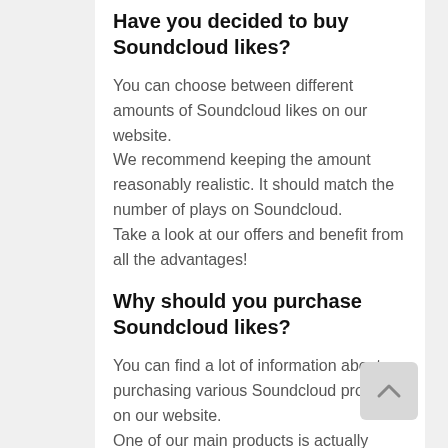Have you decided to buy Soundcloud likes?
You can choose between different amounts of Soundcloud likes on our website. We recommend keeping the amount reasonably realistic. It should match the number of plays on Soundcloud. Take a look at our offers and benefit from all the advantages!
Why should you purchase Soundcloud likes?
You can find a lot of information about purchasing various Soundcloud products on our website. One of our main products is actually Soundcloud Plays. When looking for new music, people often look at the number of plays. Was a song played often?